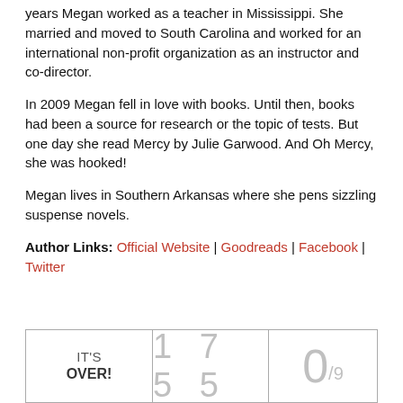years Megan worked as a teacher in Mississippi. She married and moved to South Carolina and worked for an international non-profit organization as an instructor and co-director.
In 2009 Megan fell in love with books. Until then, books had been a source for research or the topic of tests. But one day she read Mercy by Julie Garwood. And Oh Mercy, she was hooked!
Megan lives in Southern Arkansas where she pens sizzling suspense novels.
Author Links: Official Website | Goodreads | Facebook | Twitter
| IT'S OVER! | 1 7 5 5 | 0/9 |